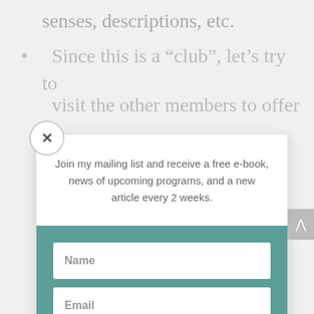senses, descriptions, etc.
Since this is a “club”, let’s try to visit the other members to offer
Join my mailing list and receive a free e-book, news of upcoming programs, and a new article every 2 weeks.
Name
Email
Subscribe